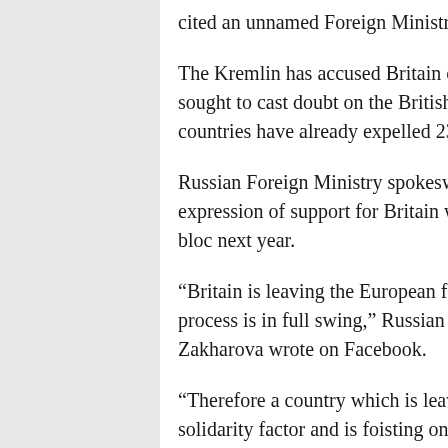cited an unnamed Foreign Ministry source as saying.
The Kremlin has accused Britain of whipping up an anti-Russia campaign and sought to cast doubt on the British analysis that Moscow was responsible. The two countries have already expelled 23 diplomats each in tit-for-tat moves.
Russian Foreign Ministry spokeswoman Maria Zakharova suggested that the EU’s expression of support for Britain was misguided given that it would be leaving the bloc next year.
“Britain is leaving the European family. No one cancelled Brexit, and the divorce process is in full swing,” Russian Foreign Ministry spokeswoman Maria Zakharova wrote on Facebook.
“Therefore a country which is leaving the European Union is exploiting the solidarity factor and is foisting on those countries that remain a worsening of relations with Russia.” Skripal, 66, and his 33-year-old daughter Yulia